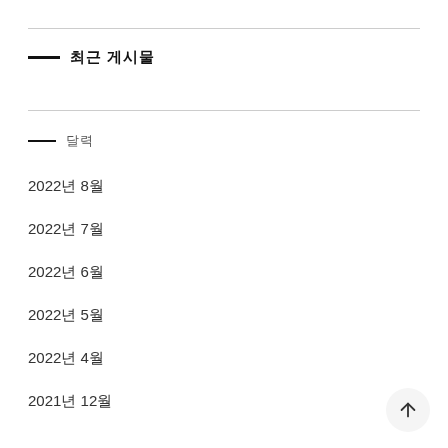최근 게시물
달력
2022년 8월
2022년 7월
2022년 6월
2022년 5월
2022년 4월
2021년 12월